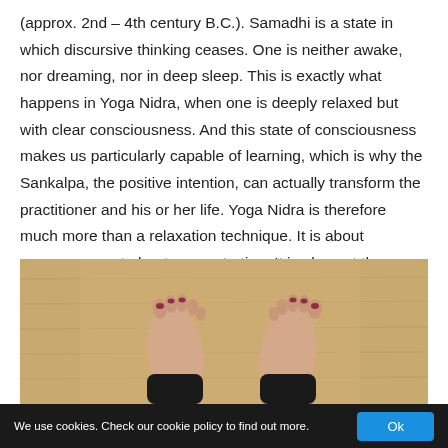(approx. 2nd – 4th century B.C.). Samadhi is a state in which discursive thinking ceases. One is neither awake, nor dreaming, nor in deep sleep. This is exactly what happens in Yoga Nidra, when one is deeply relaxed but with clear consciousness. And this state of consciousness makes us particularly capable of learning, which is why the Sankalpa, the positive intention, can actually transform the practitioner and his or her life. Yoga Nidra is therefore much more than a relaxation technique. It is about awareness, not about concentration. It is also not the same as meditation: both meditation (Dhyana) and Samadhi are separate stages of the Eightfold Path.
[Figure (photo): A photograph showing bare feet of a person standing on a wooden floor, viewed from above, wearing dark pants/clothing at the ankles.]
We use cookies. Check our cookie policy to find out more.  Ok